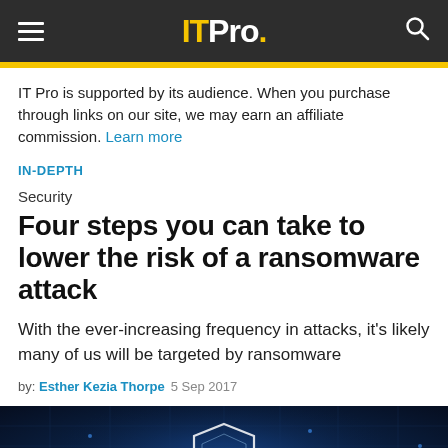IT Pro.
IT Pro is supported by its audience. When you purchase through links on our site, we may earn an affiliate commission. Learn more
IN-DEPTH
Security
Four steps you can take to lower the risk of a ransomware attack
With the ever-increasing frequency in attacks, it's likely many of us will be targeted by ransomware
by: Esther Kezia Thorpe  5 Sep 2017
[Figure (photo): Dark blue digital cybersecurity background with glowing circuit board shield outline]